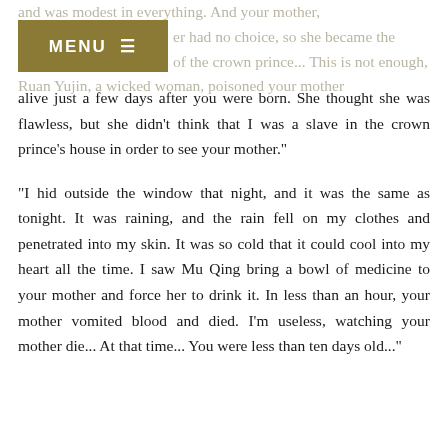and was modest in everything. And your mother, er had no choice, so she became the concubine of the crown prince... This is not enough, Ruan Yujin, a wicked woman, poisoned your mother
alive just a few days after you were born. She thought she was flawless, but she didn't think that I was a slave in the crown prince's house in order to see your mother."

“I hid outside the window that night, and it was the same as tonight. It was raining, and the rain fell on my clothes and penetrated into my skin. It was so cold that it could cool into my heart all the time. I saw Mu Qing bring a bowl of medicine to your mother and force her to drink it. In less than an hour, your mother vomited blood and died. I'm useless, watching your mother die... At that time... You were less than ten days old..."